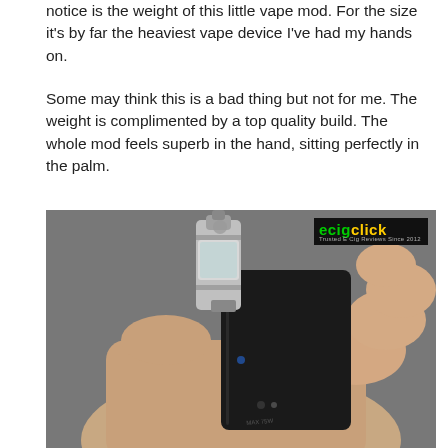notice is the weight of this little vape mod. For the size it's by far the heaviest vape device I've had my hands on.
Some may think this is a bad thing but not for me. The weight is complimented by a top quality build. The whole mod feels superb in the hand, sitting perfectly in the palm.
[Figure (photo): A hand holding a black box vape mod with a silver tank/atomizer attached on top. The ecigclick logo watermark appears in the top right corner of the image. The device is a compact box mod being gripped in a palm, photographed against a gray background.]